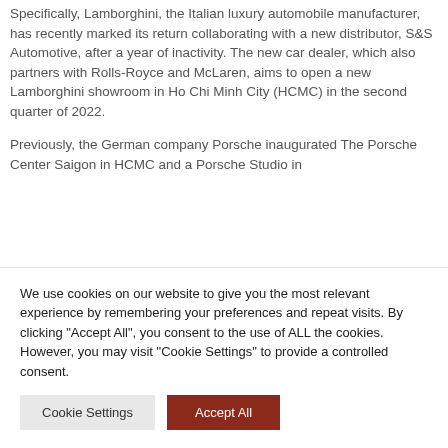Specifically, Lamborghini, the Italian luxury automobile manufacturer, has recently marked its return collaborating with a new distributor, S&S Automotive, after a year of inactivity. The new car dealer, which also partners with Rolls-Royce and McLaren, aims to open a new Lamborghini showroom in Ho Chi Minh City (HCMC) in the second quarter of 2022.
Previously, the German company Porsche inaugurated The Porsche Center Saigon in HCMC and a Porsche Studio in
We use cookies on our website to give you the most relevant experience by remembering your preferences and repeat visits. By clicking "Accept All", you consent to the use of ALL the cookies. However, you may visit "Cookie Settings" to provide a controlled consent.